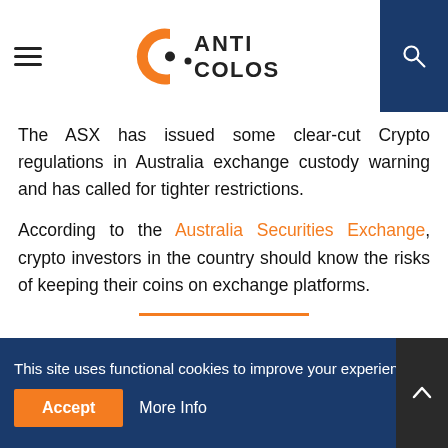[Figure (logo): Canticolos website logo with orange C icon and stylized text]
The ASX has issued some clear-cut Crypto regulations in Australia exchange custody warning and has called for tighter restrictions.
According to the Australia Securities Exchange, crypto investors in the country should know the risks of keeping their coins on exchange platforms.
ACCORDING TO THE ASX FILING, INVESTORS DO NOT HAVE ACCESS TO THEIR PRIVATE KEYS WHILE THEIR ASSETS ARE DOMICILED IN
This site uses functional cookies to improve your experience. Accept | More Info